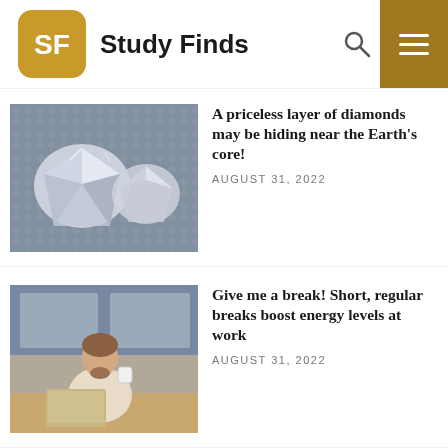Study Finds
[Figure (photo): Two large diamonds on a dark crushed diamond background]
A priceless layer of diamonds may be hiding near the Earth's core!
AUGUST 31, 2022
[Figure (photo): Man sitting at a desk with a laptop, drinking coffee in an office]
Give me a break! Short, regular breaks boost energy levels at work
AUGUST 31, 2022
[Figure (photo): Two African American women praying together]
Religious African Americans more likely to have better heart health, quit smoking
AUGUST 31, 2022
[Figure (photo): Partial view of a fourth article image at bottom of page]